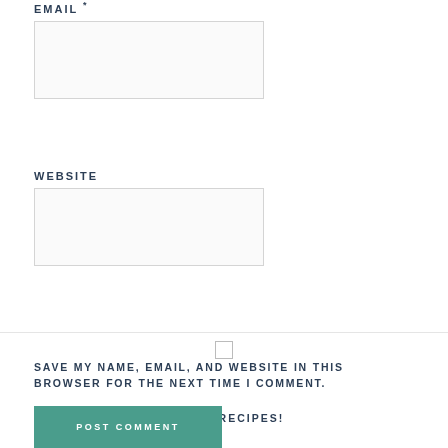EMAIL *
[Figure (other): Empty email input text box with light border]
WEBSITE
[Figure (other): Empty website input text box with light border]
[Figure (other): Unchecked checkbox centered in a row with top border]
SAVE MY NAME, EMAIL, AND WEBSITE IN THIS BROWSER FOR THE NEXT TIME I COMMENT.
SIGN ME UP FOR FREE RECIPES!
POST COMMENT